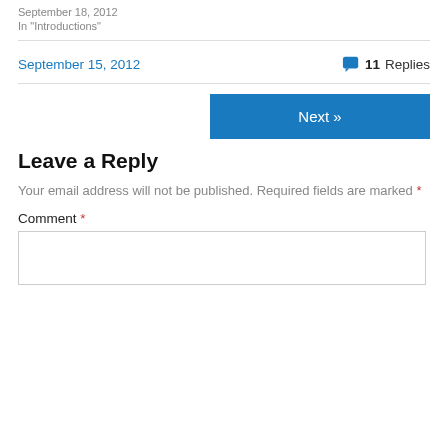September 18, 2012
In "Introductions"
September 15, 2012
11 Replies
Next »
Leave a Reply
Your email address will not be published. Required fields are marked *
Comment *